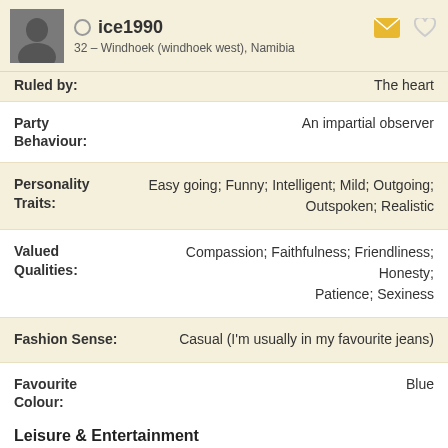ice1990 — 32 – Windhoek (windhoek west), Namibia
Ruled by: The heart
Party Behaviour: An impartial observer
Personality Traits: Easy going; Funny; Intelligent; Mild; Outgoing; Outspoken; Realistic
Valued Qualities: Compassion; Faithfulness; Friendliness; Honesty; Patience; Sexiness
Fashion Sense: Casual (I'm usually in my favourite jeans)
Favourite Colour: Blue
Leisure & Entertainment